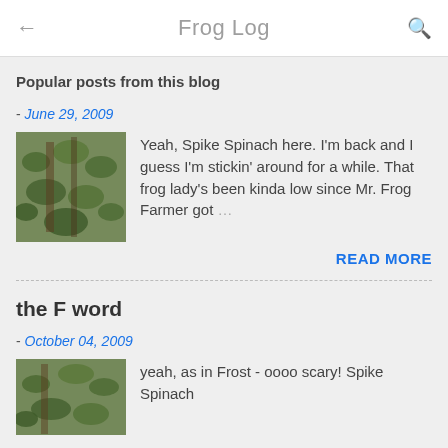Frog Log
Popular posts from this blog
- June 29, 2009
[Figure (photo): Thumbnail photo of green plants/garden bed]
Yeah, Spike Spinach here. I'm back and I guess I'm stickin' around for a while. That frog lady's been kinda low since Mr. Frog Farmer got …
READ MORE
the F word
- October 04, 2009
[Figure (photo): Thumbnail photo of garden with frost]
yeah, as in Frost - oooo scary! Spike Spinach